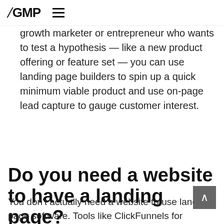/ GMP ≡
growth marketer or entrepreneur who wants to test a hypothesis — like a new product offering or feature set — you can use landing page builders to spin up a quick minimum viable product and use on-page lead capture to gauge customer interest.
Do you need a website to have a landing page?
You don't actually need a website to use landing page software. Tools like ClickFunnels for instance, can be wholesale alternatives to making a website. As long as you have a domain name, you can plug in a landing page (or